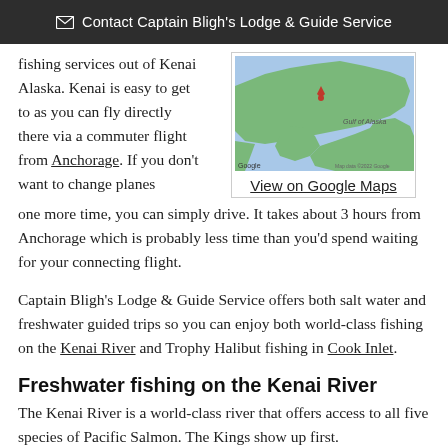✉ Contact Captain Bligh's Lodge & Guide Service
fishing services out of Kenai Alaska. Kenai is easy to get to as you can fly directly there via a commuter flight from Anchorage. If you don't want to change planes one more time, you can simply drive. It takes about 3 hours from Anchorage which is probably less time than you'd spend waiting for your connecting flight.
[Figure (map): Google Map showing Alaska with a location marker near Kenai, Alaska. Shows Gulf of Alaska label.]
View on Google Maps
Captain Bligh's Lodge & Guide Service offers both salt water and freshwater guided trips so you can enjoy both world-class fishing on the Kenai River and Trophy Halibut fishing in Cook Inlet.
Freshwater fishing on the Kenai River
The Kenai River is a world-class river that offers access to all five species of Pacific Salmon. The Kings show up first.